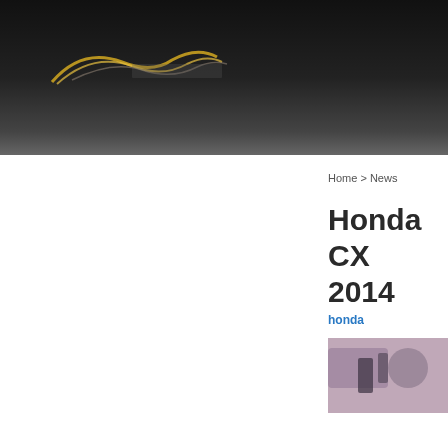[Figure (logo): Website header with dark background and stylized logo with yellow/gold swoosh graphic]
Home > News
Honda CX 2014
honda
[Figure (photo): Partial photo of motorcycle or automotive component, cropped at page edge]